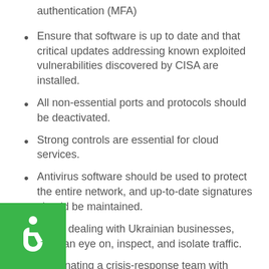authentication (MFA)
Ensure that software is up to date and that critical updates addressing known exploited vulnerabilities discovered by CISA are installed.
All non-essential ports and protocols should be deactivated.
Strong controls are essential for cloud services.
Antivirus software should be used to protect the entire network, and up-to-date signatures should be maintained.
When dealing with Ukrainian businesses, keep an eye on, inspect, and isolate traffic.
Designating a crisis-response team with contact information and assurance of availability of key personnel
During an incident, instructing people in tabletop exercises to ensure they understand their